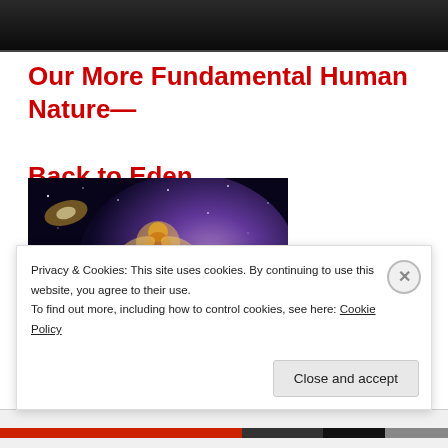[Figure (photo): Dark image at the top, appears to be a cropped photo with dark tones]
Our More Fundamental Human Nature—Back to Eden
[Figure (illustration): A cosmic/spiritual illustration showing a galaxy, a figure of a person, and silhouettes of people on the ground with a bright star or light, set against a purple-blue nebula background]
Privacy & Cookies: This site uses cookies. By continuing to use this website, you agree to their use.
To find out more, including how to control cookies, see here: Cookie Policy
Close and accept